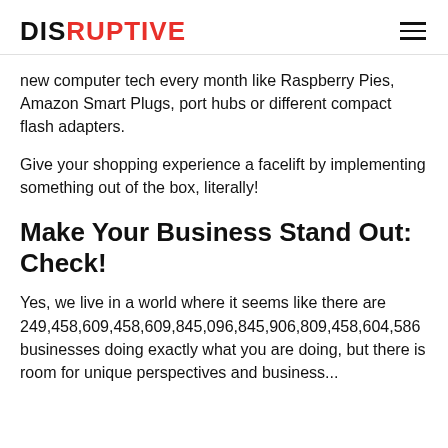DISRUPTIVE
new computer tech every month like Raspberry Pies, Amazon Smart Plugs, port hubs or different compact flash adapters.
Give your shopping experience a facelift by implementing something out of the box, literally!
Make Your Business Stand Out: Check!
Yes, we live in a world where it seems like there are 249,458,609,458,609,845,096,845,906,809,458,604,586 businesses doing exactly what you are doing, but there is room for unique perspectives and business...